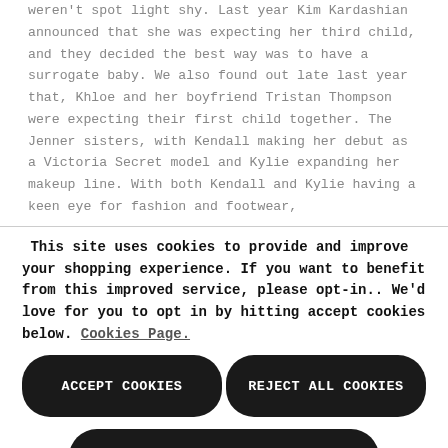weren't spot light shy. Last year Kim Kardashian announced that she was expecting her third child, and they decided the best way was to have a surrogate baby. We also found out late last year that, Khloe and her boyfriend Tristan Thompson were expecting their first child together. The Jenner sisters, with Kendall making her debut as a Victoria Secret model and Kylie expanding her makeup line. With both Kendall and Kylie having a keen eye for fashion and footwear,
This site uses cookies to provide and improve your shopping experience. If you want to benefit from this improved service, please opt-in.. We'd love for you to opt in by hitting accept cookies below. Cookies Page.
ACCEPT COOKIES
REJECT ALL COOKIES
MANAGE PREFERENCES